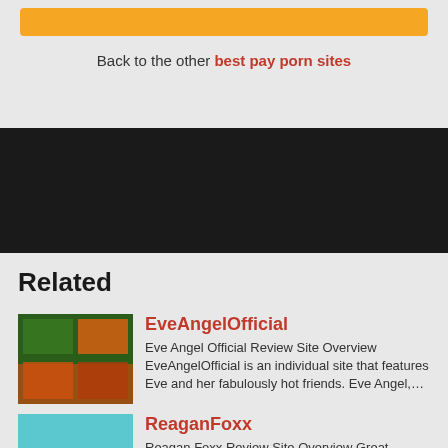Back to the other best pay porn sites
Related
EveAngelOfficial
Eve Angel Official Review Site Overview EveAngelOfficial is an individual site that features Eve and her fabulously hot friends. Eve Angel,…
ReaganFoxx
Reagan Foxx Review Site Overview Great pornstar xxx site, ReaganFoxx is a self-titled porn community that showcases the sexual adventures…
SugarBabes